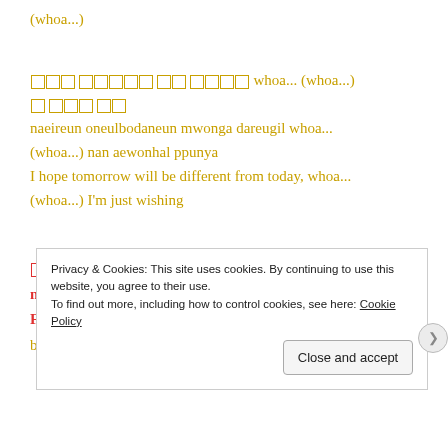(whoa...)
[Korean] whoa... (whoa...) [Korean] naeireun oneulbodaneun mwonga dareugil whoa... (whoa...) nan aewonhal ppunya
I hope tomorrow will be different from today, whoa... (whoa...) I'm just wishing
[Korean] like breaker [Korean] oh better
ni kkumeul ttaraga like breaker buseojindaedo oh better
Follow your dream like breaker, even if it breaks down, oh better
Privacy & Cookies: This site uses cookies. By continuing to use this website, you agree to their use.
To find out more, including how to control cookies, see here: Cookie Policy
Close and accept